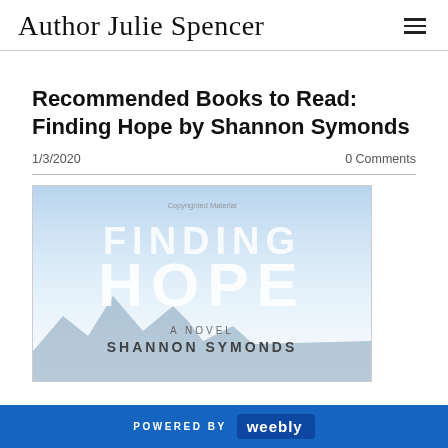Author Julie Spencer
Recommended Books to Read: Finding Hope by Shannon Symonds
1/3/2020      0 Comments
[Figure (photo): Book cover of 'Finding Hope' – a novel by Shannon Symonds. Light blue sky background with large bold white text reading 'FINDING HOPE', subtitle 'A NOVEL', and author name 'SHANNON SYMONDS'. Small watermark text reads 'Copyrighted Material'.]
POWERED BY weebly